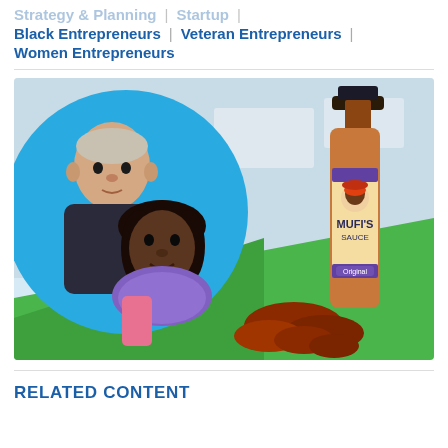Strategy & Planning | Startup | Black Entrepreneurs | Veteran Entrepreneurs | Women Entrepreneurs
[Figure (photo): Photo of two people (an older white man and a younger Black woman) in a circular blue-bordered portrait on the left, with a bottle of Mufi's Sauce (Original) and chicken wings on the right, set against a green triangle background.]
RELATED CONTENT